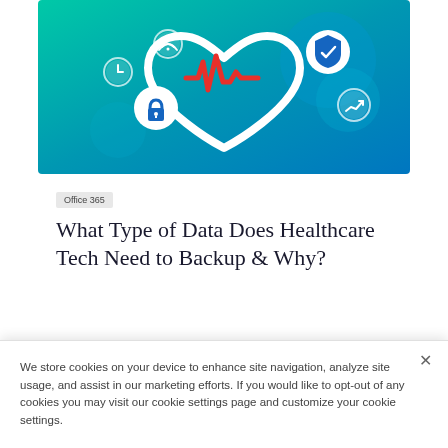[Figure (illustration): Healthcare technology illustration: teal-to-blue gradient background with a white heart outline containing a red ECG/heartbeat line. Various circular icons around the heart including WiFi, lock/security, shield with checkmark, clock, and trending graph icons. Decorative teal/blue circles in background.]
Office 365
What Type of Data Does Healthcare Tech Need to Backup & Why?
We store cookies on your device to enhance site navigation, analyze site usage, and assist in our marketing efforts. If you would like to opt-out of any cookies you may visit our cookie settings page and customize your cookie settings.